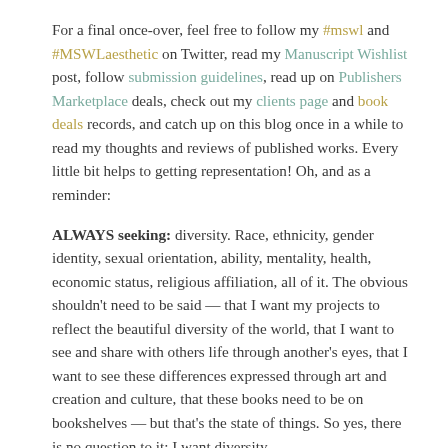For a final once-over, feel free to follow my #mswl and #MSWLaesthetic on Twitter, read my Manuscript Wishlist post, follow submission guidelines, read up on Publishers Marketplace deals, check out my clients page and book deals records, and catch up on this blog once in a while to read my thoughts and reviews of published works. Every little bit helps to getting representation! Oh, and as a reminder:
ALWAYS seeking: diversity. Race, ethnicity, gender identity, sexual orientation, ability, mentality, health, economic status, religious affiliation, all of it. The obvious shouldn't need to be said — that I want my projects to reflect the beautiful diversity of the world, that I want to see and share with others life through another's eyes, that I want to see these differences expressed through art and creation and culture, that these books need to be on bookshelves — but that's the state of things. So yes, there is no question to it: I want diversity.